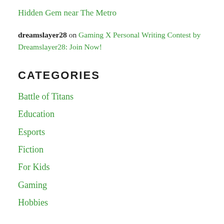Hidden Gem near The Metro
dreamslayer28 on Gaming X Personal Writing Contest by Dreamslayer28: Join Now!
CATEGORIES
Battle of Titans
Education
Esports
Fiction
For Kids
Gaming
Hobbies